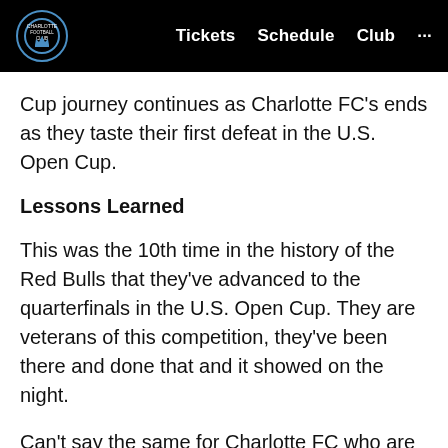Tickets  Schedule  Club  ...
Cup journey continues as Charlotte FC's ends as they taste their first defeat in the U.S. Open Cup.
Lessons Learned
This was the 10th time in the history of the Red Bulls that they've advanced to the quarterfinals in the U.S. Open Cup. They are veterans of this competition, they've been there and done that and it showed on the night.
Can't say the same for Charlotte FC who are participating in the tournament for the first-ever time. The U.S. Open Cup is a completely different beast than